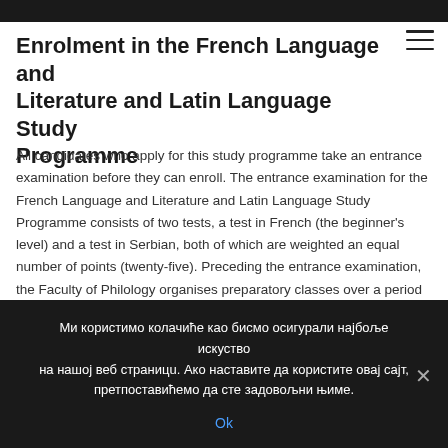Enrolment in the French Language and Literature and Latin Language Study Programme
All candidates who apply for this study programme take an entrance examination before they can enroll. The entrance examination for the French Language and Literature and Latin Language Study Programme consists of two tests, a test in French (the beginner's level) and a test in Serbian, both of which are weighted an equal number of points (twenty-five). Preceding the entrance examination, the Faculty of Philology organises preparatory classes over a period of two days, in which the teaching assistants working at the French
Ми користимо колачиће као бисмо осигурали најбоље искуство на нашој веб страници. Ако наставите да користите овај сајт, претпоставићемо да сте задовољни њиме.
Ok